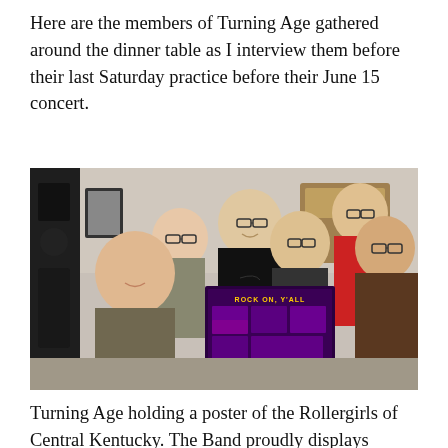Here are the members of Turning Age gathered around the dinner table as I interview them before their last Saturday practice before their June 15 concert.
[Figure (photo): Group photo of five or six young people gathered around a dinner table, holding a purple poster that reads 'ROCK ON, Y'ALL'. One person wears a black Nike shirt, one wears a red shirt, and others are dressed casually. They are smiling at the camera.]
Turning Age holding a poster of the Rollergirls of Central Kentucky. The Band proudly displays